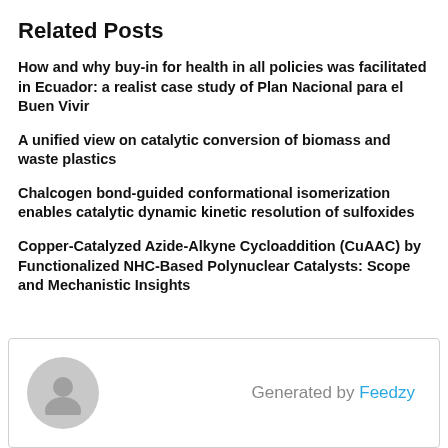Related Posts
How and why buy-in for health in all policies was facilitated in Ecuador: a realist case study of Plan Nacional para el Buen Vivir
A unified view on catalytic conversion of biomass and waste plastics
Chalcogen bond-guided conformational isomerization enables catalytic dynamic kinetic resolution of sulfoxides
Copper-Catalyzed Azide-Alkyne Cycloaddition (CuAAC) by Functionalized NHC-Based Polynuclear Catalysts: Scope and Mechanistic Insights
[Figure (other): User avatar placeholder circle with grey background]
Generated by Feedzy